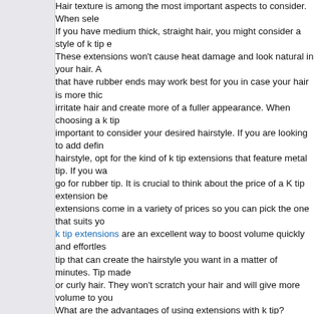Hair texture is among the most important aspects to consider. When selecting extensions, if you have medium thick, straight hair, you might consider a style of k tip extensions. These extensions won't cause heat damage and look natural in your hair. Also, extensions that have rubber ends may work best for you in case your hair is more thick because they irritate hair and create more of a fuller appearance. When choosing a k tip extension, it's also important to consider your desired hairstyle. If you are looking to add definition to your hairstyle, opt for the kind of k tip extensions that feature metal tip. If you want waves, go for rubber tip. It is crucial to think about the price of a K tip extension because extension come in a variety of prices so you can pick the one that suits you. k tip extensions are an excellent way to boost volume quickly and effortlessly. They have a tip that can create the hairstyle you want in a matter of minutes. Tip made for straight or curly hair. They won't scratch your hair and will give more volume to your hair. What are the advantages of using extensions with k tip? K Tip extensions can make a big change in how you style your hair. They can give you a long and thicker hairstyle, they also protect your hair from heat damage. They encourage growth. They're also simple to apply and take off and put on, allowing you to look your best no matter where you happen to be. If you're not sure whether or not you should give them out! test and discover how amazing they are! Six great reasons to include them in your Hair Style Routine 1. They'll keep your hair looking longer! 2. They add the volume and texture of your hair, which could provide a more youthful look. 3. k tip extensions are also great at keeping curls in place making them perfect for those with frizzy locks! 4. They make it much easier to style complicated hairstyles - you don't have to struggle to achieve the perfect hairstyle! 5. So if you're looking for the perfect hairstyle that will last take a look and add some hair clips to your regimen! The best way to add Volume and Length to your hair with K Tip Extensions Looking for a way to increase the length and volume of your hair with no hassle? K Tip might be what you're searching for. These extensions are made with flexible clips that attach quickly to give you the appearance you want. Additionally, they are available in a variety of styles to satisfy your every desire. So, if you're looking for a simple, easy way to lengthen and volume your hair, then k Tip Extensions might be the ideal solution.